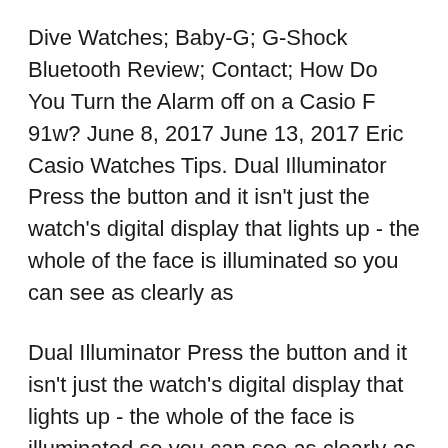Dive Watches; Baby-G; G-Shock Bluetooth Review; Contact; How Do You Turn the Alarm off on a Casio F 91w? June 8, 2017 June 13, 2017 Eric Casio Watches Tips. Dual Illuminator Press the button and it isn't just the watch's digital display that lights up - the whole of the face is illuminated so you can see as clearly as
Dual Illuminator Press the button and it isn't just the watch's digital display that lights up - the whole of the face is illuminated so you can see as clearly as Baby-G watches are a series of Casio watches that emphasize personal timekeeping through style. Each Baby-G model has its own style, marked by vibrant colors and